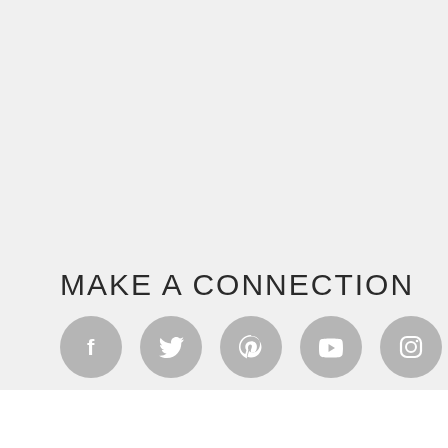MAKE A CONNECTION
[Figure (infographic): Five social media icon circles in grey: Facebook, Twitter, Pinterest, YouTube, Instagram]